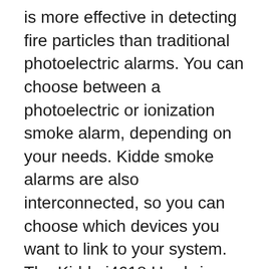is more effective in detecting fire particles than traditional photoelectric alarms. You can choose between a photoelectric or ionization smoke alarm, depending on your needs. Kidde smoke alarms are also interconnected, so you can choose which devices you want to link to your system. The Kidde i4618 Hardwire Smoke Alarm With Battery Backup is a great choice for homes with multiple smoke detectors.
If you've ever accidentally inserted a file into your Kidde smoke alarm, you should remove it. The files can damage your device. If your smoke alarm continues to beep, check the batteries every seven to ten years. The processor will detect false conditions and will adjust itself when the battery is low to help